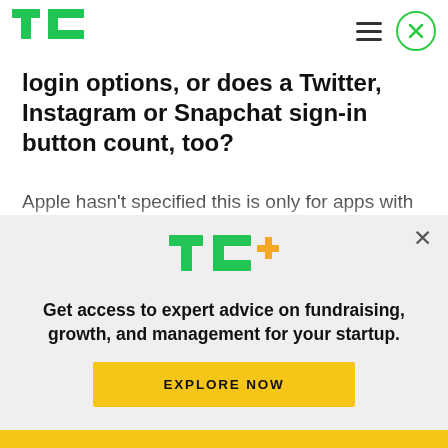TechCrunch logo and navigation
login options, or does a Twitter, Instagram or Snapchat sign-in button count, too?
Apple hasn't specified this is only for apps with Facebook or Google logins, or even “social” logins. Just any third-party sign-in system. Although Facebook and Google are obviously the biggest providers of third-party sign-in services to apps
[Figure (logo): TechCrunch TC+ logo in green with orange plus sign]
Get access to expert advice on fundraising, growth, and management for your startup.
EXPLORE NOW